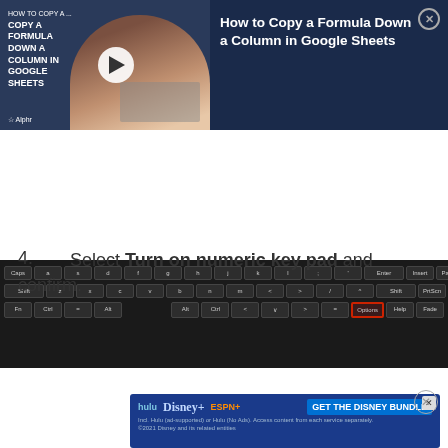[Figure (screenshot): Video thumbnail showing 'How to Copy a Formula Down a Column in Google Sheets' with a woman at a laptop and a play button overlay, alongside the article title and a close button on a dark navy background]
[Figure (screenshot): Keyboard image showing keys with 'Options' key highlighted in red outline in the bottom-right area]
Select Turn on numeric key pad and confirm.
[Figure (screenshot): Options dialog box with checkboxes: Use click sound (checked), Show keys to make it easier to move around the screen (checked), Turn on numeric key pad (checked, highlighted in red outline). Sub-section showing 'To use the On-Screen Keyboard:' with 'Click on keys' radio button selected.]
[Figure (screenshot): Advertisement banner for Disney Bundle featuring Hulu, Disney+, and ESPN+ logos with 'GET THE DISNEY BUNDLE' call to action]